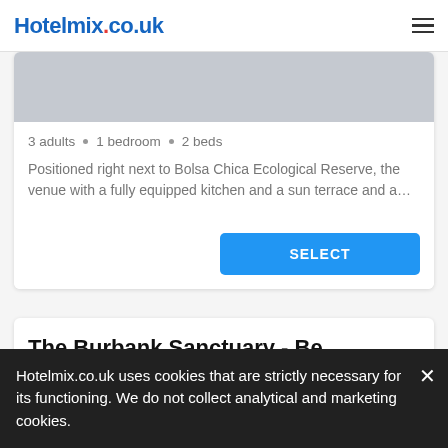Hotelmix.co.uk
[Figure (photo): Gray placeholder image for hotel/apartment listing]
3 adults • 1 bedroom • 2 beds
Positioned right next to Bolsa Chica Ecological Reserve, the venue with a fully equipped kitchen and a sun terrace and a…
SELECT
The Burbank Sanctuary - Be Pampered - Full Kitchen
Apartment
Hotelmix.co.uk uses cookies that are strictly necessary for its functioning. We do not collect analytical and marketing cookies.